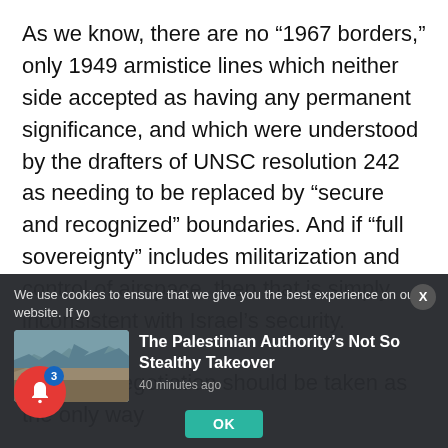As we know, there are no “1967 borders,” only 1949 armistice lines which neither side accepted as having any permanent significance, and which were understood by the drafters of UNSC resolution 242 as needing to be replaced by “secure and recognized” boundaries. And if “full sovereignty” includes militarization and control of airspace, then that is simply inconsistent with Israel’s security.
Second, negotiation should be taken as the only way
We use cookies to ensure that we give you the best experience on our website. If yo
[Figure (photo): Thumbnail image showing a rocky/hilly landscape, likely the Middle East region]
The Palestinian Authority’s Not So Stealthy Takeover
40 minutes ago